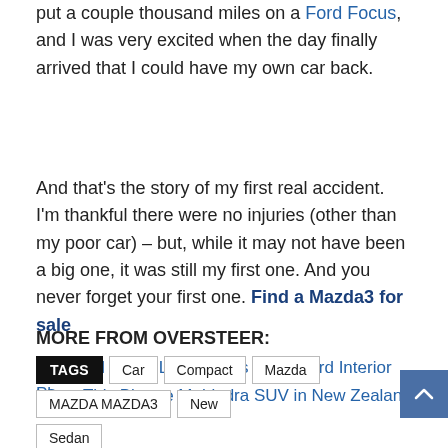put a couple thousand miles on a Ford Focus, and I was very excited when the day finally arrived that I could have my own car back.
And that's the story of my first real accident. I'm thankful there were no injuries (other than my poor car) – but, while it may not have been a big one, it was still my first one. And you never forget your first one. Find a Mazda3 for sale
MORE FROM OVERSTEER:
The Ford F-150 Limited Has This Weird Interior Plaque
I Saw This Bizarre Mahindra SUV in New Zealand
Video | The Mercedes-Benz SL65 Black Series Was the Ultimate SL
TAGS  Car  Compact  Mazda  MAZDA MAZDA3  New  Sedan